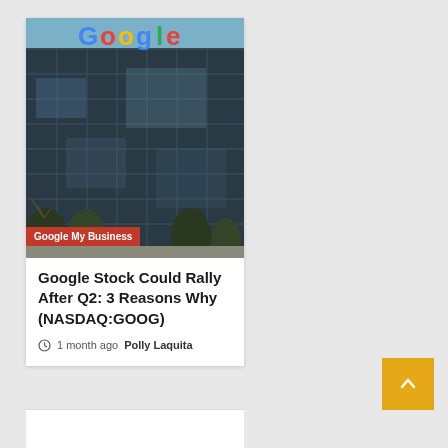[Figure (photo): Google headquarters building with the Google logo on the glass facade, surrounded by trees and blue sky]
Google My Business
Google Stock Could Rally After Q2: 3 Reasons Why (NASDAQ:GOOG)
1 month ago  Polly Laquita